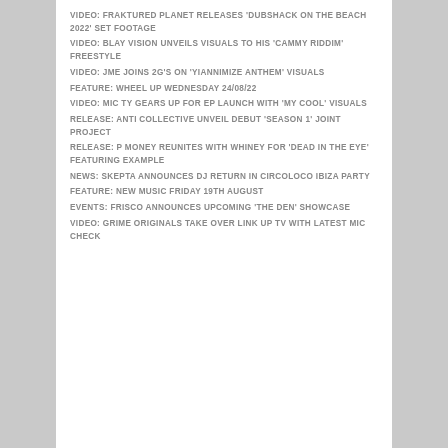VIDEO: FRAKTURED PLANET RELEASES 'DUBSHACK ON THE BEACH 2022' SET FOOTAGE
VIDEO: BLAY VISION UNVEILS VISUALS TO HIS 'CAMMY RIDDIM' FREESTYLE
VIDEO: JME JOINS 2G'S ON 'YIANNIMIZE ANTHEM' VISUALS
FEATURE: WHEEL UP WEDNESDAY 24/08/22
VIDEO: MIC TY GEARS UP FOR EP LAUNCH WITH 'MY COOL' VISUALS
RELEASE: ANTI COLLECTIVE UNVEIL DEBUT 'SEASON 1' JOINT PROJECT
RELEASE: P MONEY REUNITES WITH WHINEY FOR 'DEAD IN THE EYE' FEATURING EXAMPLE
NEWS: SKEPTA ANNOUNCES DJ RETURN IN CIRCOLOCO IBIZA PARTY
FEATURE: NEW MUSIC FRIDAY 19TH AUGUST
EVENTS: FRISCO ANNOUNCES UPCOMING 'THE DEN' SHOWCASE
VIDEO: GRIME ORIGINALS TAKE OVER LINK UP TV WITH LATEST MIC CHECK